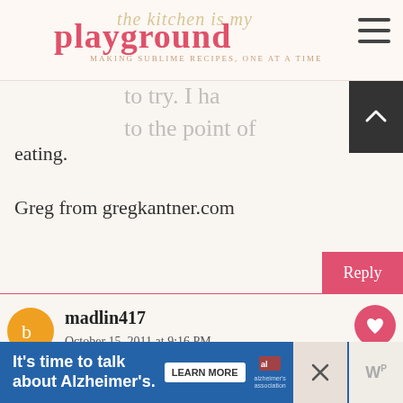the kitchen is my playground - MAKING SUBLIME RECIPES, ONE AT A TIME
to try. I ha... to the point of eating.
Greg from gregkantner.com
Reply
madlin417
October 15, 2011 at 9:16 PM
i am so thrilled because i totally o... how to can and i want to make some spicy
[Figure (infographic): What's Next panel with thumbnail image and text: Fritter-Fried Okra - my...]
[Figure (infographic): Advertisement banner: It's time to talk about Alzheimer's. LEARN MORE button with Alzheimer's Association logo.]